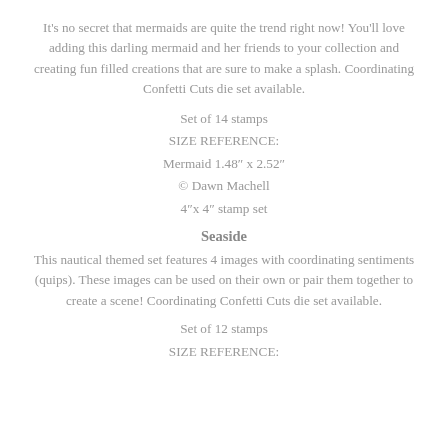It's no secret that mermaids are quite the trend right now!  You'll love adding this darling mermaid and her friends to your collection and creating fun filled creations that are sure to make a splash.  Coordinating Confetti Cuts die set available.
Set of 14 stamps
SIZE REFERENCE:
Mermaid 1.48″ x 2.52″
© Dawn Machell
4″x 4″ stamp set
Seaside
This nautical themed set features 4 images with coordinating sentiments (quips).  These images can be used on their own or pair them together to create a scene!  Coordinating Confetti Cuts die set available.
Set of 12 stamps
SIZE REFERENCE: